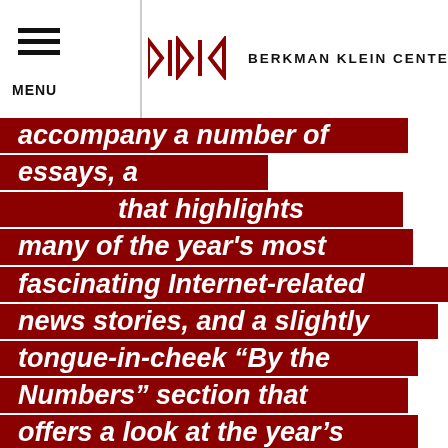MENU | BERKMAN KLEIN CENTER
accompany a number of essays, a that highlights many of the year's most fascinating Internet-related news stories, and a slightly tongue-in-cheek “By the Numbers” section that offers a look at the year’s important digital statistics. We believe that each contribution offers insights, and hope they provoke